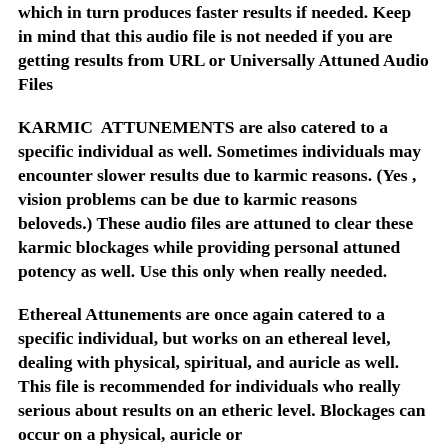which in turn produces faster results if needed. Keep in mind that this audio file is not needed if you are getting results from URL or Universally Attuned Audio Files
KARMIC ATTUNEMENTS are also catered to a specific individual as well. Sometimes individuals may encounter slower results due to karmic reasons. (Yes , vision problems can be due to karmic reasons beloveds.) These audio files are attuned to clear these karmic blockages while providing personal attuned potency as well. Use this only when really needed.
Ethereal Attunements are once again catered to a specific individual, but works on an ethereal level, dealing with physical, spiritual, and auricle as well. This file is recommended for individuals who really serious about results on an etheric level. Blockages can occur on a physical, auricle or